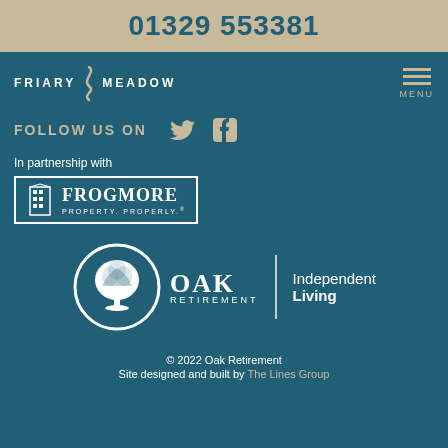01329 553381
[Figure (logo): Friary Meadow logo with stylized curl between words]
[Figure (logo): Menu button with three horizontal lines and MENU text]
FOLLOW US ON
[Figure (logo): Twitter and Facebook social media icons]
In partnership with
[Figure (logo): Frogmore Property. Properly. logo with building icon]
[Figure (logo): Oak Retirement Independent Living logo with tree in circle]
© 2022 Oak Retirement
Site designed and built by The Lines Group